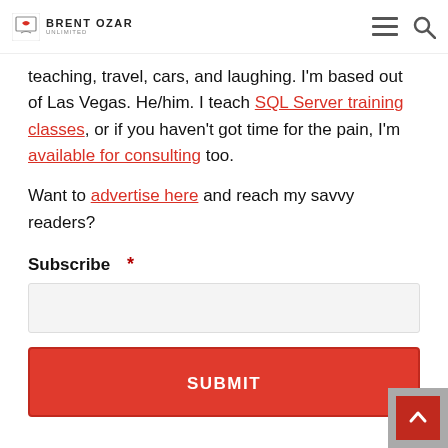BRENT OZAR
teaching, travel, cars, and laughing. I'm based out of Las Vegas. He/him. I teach SQL Server training classes, or if you haven't got time for the pain, I'm available for consulting too.
Want to advertise here and reach my savvy readers?
Subscribe *
SUBMIT